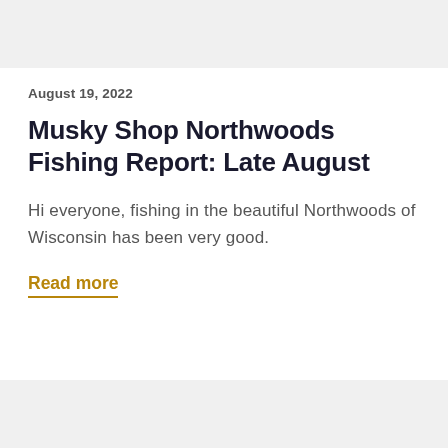[Figure (other): Light gray banner area at the top of the page]
August 19, 2022
Musky Shop Northwoods Fishing Report: Late August
Hi everyone, fishing in the beautiful Northwoods of Wisconsin has been very good.
Read more
[Figure (other): Light gray banner area at the bottom of the page]